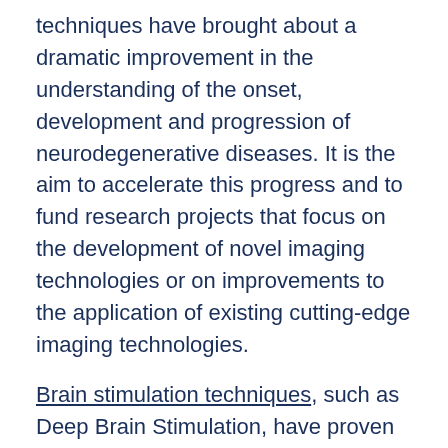techniques have brought about a dramatic improvement in the understanding of the onset, development and progression of neurodegenerative diseases. It is the aim to accelerate this progress and to fund research projects that focus on the development of novel imaging technologies or on improvements to the application of existing cutting-edge imaging technologies.
Brain stimulation techniques, such as Deep Brain Stimulation, have proven to directly affect the quality of life of patients. Other techniques, such as Transcranial Magnetic Stimulation, transcranial Direct Current Stimulation or Focused Ultrasound could have potential